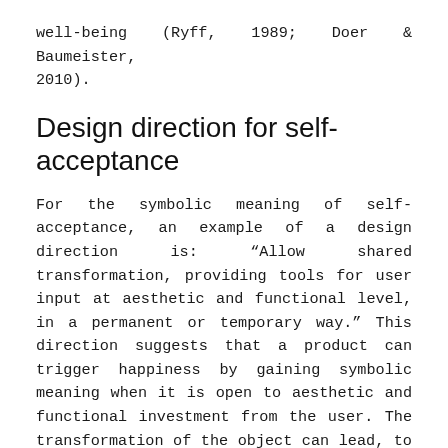well-being (Ryff, 1989; Doer & Baumeister, 2010).
Design direction for self-acceptance
For the symbolic meaning of self-acceptance, an example of a design direction is: “Allow shared transformation, providing tools for user input at aesthetic and functional level, in a permanent or temporary way.” This direction suggests that a product can trigger happiness by gaining symbolic meaning when it is open to aesthetic and functional investment from the user. The transformation of the object can lead, to some extent, to the transformation of its user: Someone that offers time and effort to modify something is also affected by it, for example, by